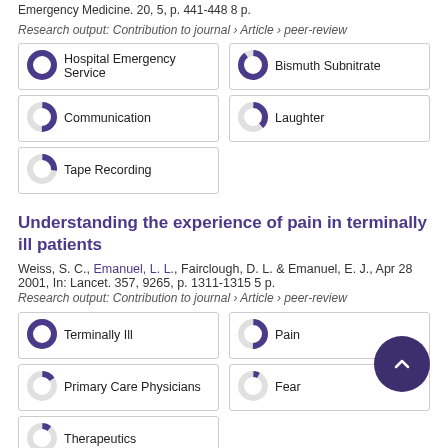Emergency Medicine. 20, 5, p. 441-448 8 p.
Research output: Contribution to journal › Article › peer-review
[Figure (infographic): Keyword donut badges grid: Hospital Emergency Service (100%), Bismuth Subnitrate (90%), Communication (50%), Laughter (38%), Tape Recording (27%)]
Understanding the experience of pain in terminally ill patients
Weiss, S. C., Emanuel, L. L., Fairclough, D. L. & Emanuel, E. J., Apr 28 2001, In: Lancet. 357, 9265, p. 1311-1315 5 p.
Research output: Contribution to journal › Article › peer-review
[Figure (infographic): Keyword donut badges grid: Terminally Ill (100%), Pain (50%), Primary Care Physicians (15%), Fear (7%), Therapeutics (10%)]
Understanding the gap between good processes of